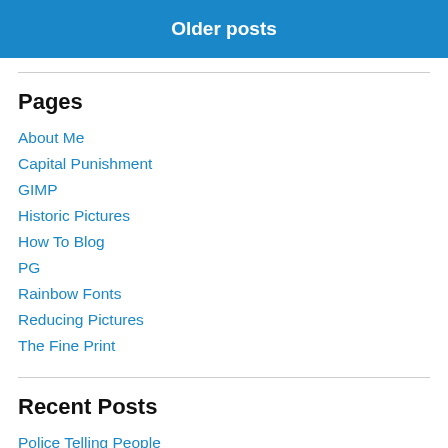Older posts
Pages
About Me
Capital Punishment
GIMP
Historic Pictures
How To Blog
PG
Rainbow Fonts
Reducing Pictures
The Fine Print
Recent Posts
Police Telling People